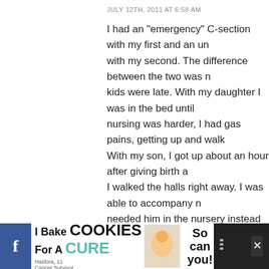JULY 12TH, 2011 AT 6:58 AM
I had an "emergency" C-section with my first and an un... with my second. The difference between the two was n... kids were late. With my daughter I was in the bed until ... nursing was harder, I had gas pains, getting up and walk... With my son, I got up about an hour after giving birth a... I walked the halls right away. I was able to accompany n... needed him in the nursery instead of being stuck in a be... was able to get the IV out right away and not be consta... blood pressure like I was with the C-Section.
There is way more risk with any surgery (including a C-s... is with a VBAC.
Also – no matter how you have a baby, be it by C-sectio... Adoption, Surrogacy, you are a mom – there is no such t... than.
> Reply
65  Kim says:
[Figure (screenshot): Advertisement banner at bottom: I Bake COOKIES For A CURE with photo of child, So can you! badge, cookies for kids cancer logo, and close/social media icons]